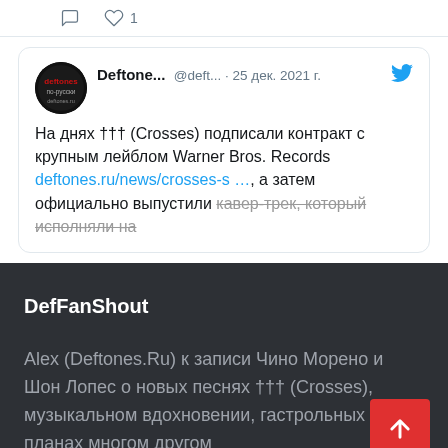[Figure (screenshot): Reaction bar with comment icon and heart icon with count 1]
Deftone... @deft... · 25 дек. 2021 г.
На днях ††† (Crosses) подписали контракт с крупным лейблом Warner Bros. Records deftones.ru/news/crosses-s …, а затем официально выпустили кавер-трек, который исполняли на
DefFanShout
Alex (Deftones.Ru) к записи Чино Морено и Шон Лопес о новых песнях ††† (Crosses), музыкальном вдохновении, гастрольных планах многом другом